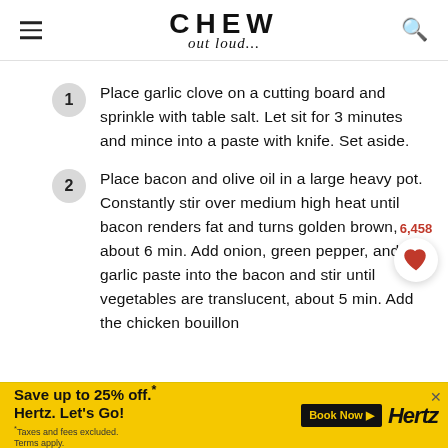CHEW out loud...
1. Place garlic clove on a cutting board and sprinkle with table salt. Let sit for 3 minutes and mince into a paste with knife. Set aside.
2. Place bacon and olive oil in a large heavy pot. Constantly stir over medium high heat until bacon renders fat and turns golden brown, about 6 min. Add onion, green pepper, and garlic paste into the bacon and stir until vegetables are translucent, about 5 min. Add the chicken bouillon...
6,458
[Figure (other): Heart/like button widget with count 6,458]
[Figure (other): Hertz advertisement banner: Save up to 25% off. Hertz. Let's Go! Book Now.]